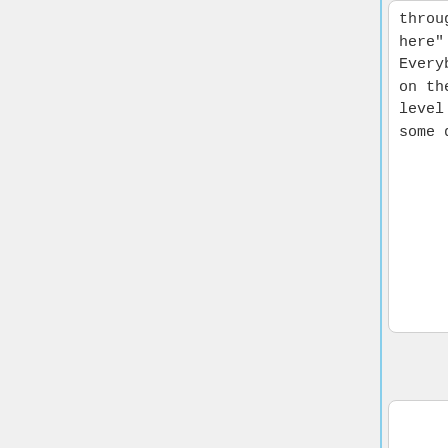through here" - Everybody on the level takes some damage.
through here" - Everybody on the level takes some damage.
"Beer crosses your mind" - The amount of potions on each level is changed depending on how much the Random Number God
"Beer crosses your mind" - The amount of potions on each level is changed depending on how much the Random Number God